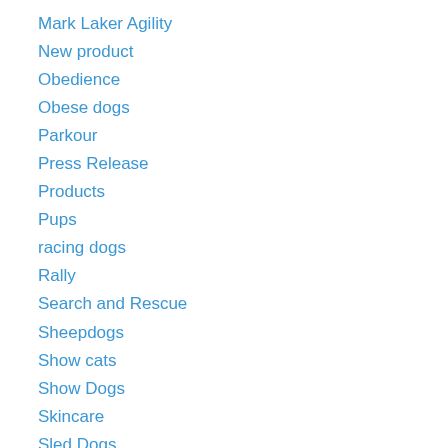Mark Laker Agility
New product
Obedience
Obese dogs
Parkour
Press Release
Products
Pups
racing dogs
Rally
Search and Rescue
Sheepdogs
Show cats
Show Dogs
Skincare
Sled Dogs
the game fair
WAO (World Agility Open)
Weight-loss
Working dogs